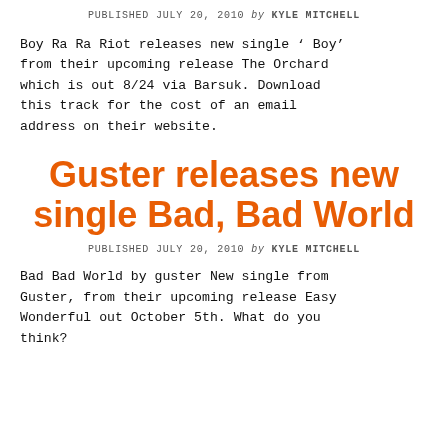PUBLISHED JULY 20, 2010 by KYLE MITCHELL
Boy Ra Ra Riot releases new single ' Boy' from their upcoming release The Orchard which is out 8/24 via Barsuk. Download this track for the cost of an email address on their website.
Guster releases new single Bad, Bad World
PUBLISHED JULY 20, 2010 by KYLE MITCHELL
Bad Bad World by guster New single from Guster, from their upcoming release Easy Wonderful out October 5th. What do you think?